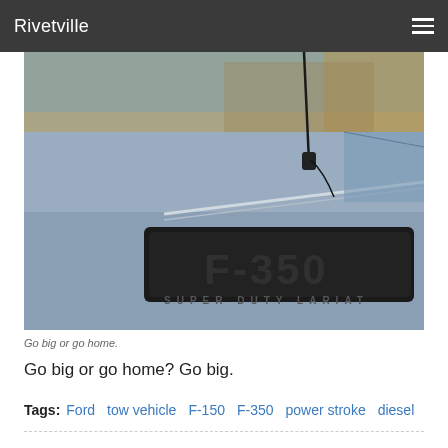Rivetville
[Figure (photo): Close-up photograph of a Ford F-350 Super Duty Lariat badge on the side panel of a silver/grey truck, with a black antenna visible on the roof against a blurred autumn background.]
Go big or go home.
Go big or go home? Go big.
Tags: Ford  tow vehicle  F-150  F-350  power stroke  diesel